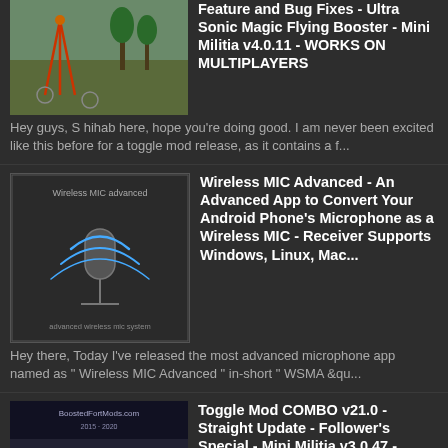Feature and Bug Fixes - Ultra Sonic Magic Flying Booster - Mini Militia v4.0.11 - WORKS ON MULTIPLAYERS
Hey guys, S hihab here, hope you're doing good. I am never been excited like this before for a toggle mod release, as it contains a f...
Wireless MIC Advanced - An Advanced App to Convert Your Android Phone's Microphone as a Wireless MIC - Receiver Supports Windows, Linux, Mac...
Hey there, Today I've released the most advanced microphone app named as " Wireless MIC Advanced " in-short " WSMA &qu...
Toggle Mod COMBO v21.0 - Straight Update - Follower's Special - Mini Militia v3.0.47 - WORKS ON MULTIPLAYERS
Happy holiday :) Today, am releasing the Toggle Mod COMBO version 21.0 which supports both non rooted and rooted devices. UPDATE - 30 /...
Toggle Mod Live COMBO v40.0 - GRAND RELEASE - Dynamic Intelligent Ammo/Bullets/Grenades, Bypass Ammo Mods Detection - Mini Militia v4.0.42 - WORKS